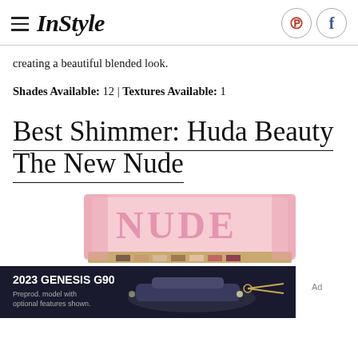InStyle
creating a beautiful blended look.
Shades Available: 12 | Textures Available: 1
Best Shimmer: Huda Beauty The New Nude
[Figure (photo): Huda Beauty The New Nude eyeshadow palette in pink/gold packaging with 'NUDE' text visible, partially overlapped by a car advertisement for 2023 Genesis G90.]